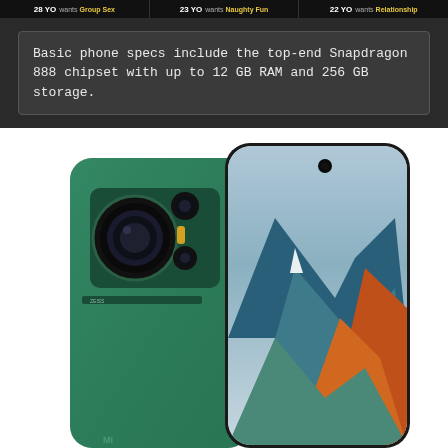28 YO wants Group Sex | 23 YO wants Naughty Fun | 22 YO wants Relationship
Basic phone specs include the top-end Snapdragon 888 chipset with up to 12 GB RAM and 256 GB storage.
[Figure (photo): Xiaomi Mi 11 smartphone shown from two angles: the back view in green with camera module on the left, and the front view showing the curved AMOLED display with mountain wallpaper on the right.]